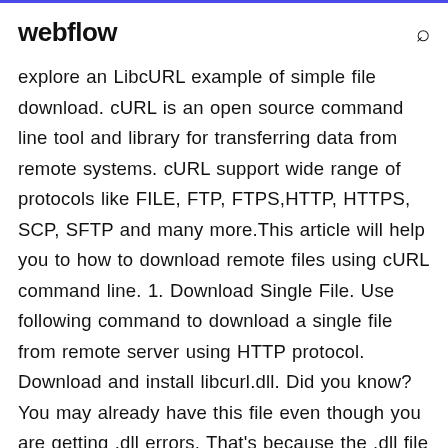webflow
explore an LibcURL example of simple file download. cURL is an open source command line tool and library for transferring data from remote systems. cURL support wide range of protocols like FILE, FTP, FTPS,HTTP, HTTPS, SCP, SFTP and many more.This article will help you to how to download remote files using cURL command line. 1. Download Single File. Use following command to download a single file from remote server using HTTP protocol. Download and install libcurl.dll. Did you know? You may already have this file even though you are getting .dll errors. That's because the .dll file may have been moved or renamed by another application. Check to see if you already